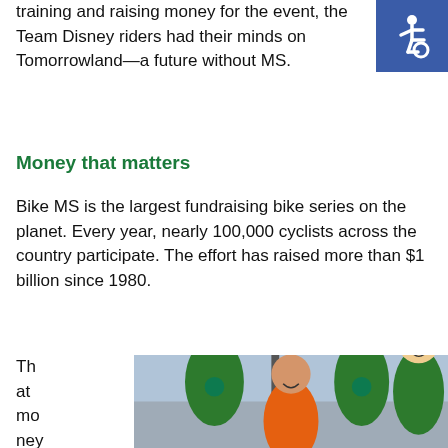training and raising money for the event, the Team Disney riders had their minds on Tomorrowland—a future without MS.
[Figure (logo): Wheelchair accessibility icon on blue background]
Money that matters
Bike MS is the largest fundraising bike series on the planet. Every year, nearly 100,000 cyclists across the country participate. The effort has raised more than $1 billion since 1980.
That money makes a difference
[Figure (photo): Four cyclists in green and orange jerseys posing together at a Bike MS event, with flags and crowd visible in background]